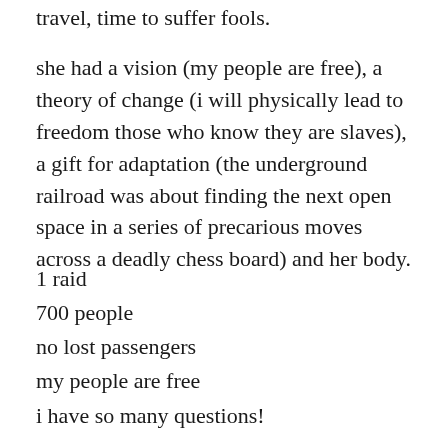travel, time to suffer fools.
she had a vision (my people are free), a theory of change (i will physically lead to freedom those who know they are slaves), a gift for adaptation (the underground railroad was about finding the next open space in a series of precarious moves across a deadly chess board) and her body.
1 raid
700 people
no lost passengers
my people are free
i have so many questions!